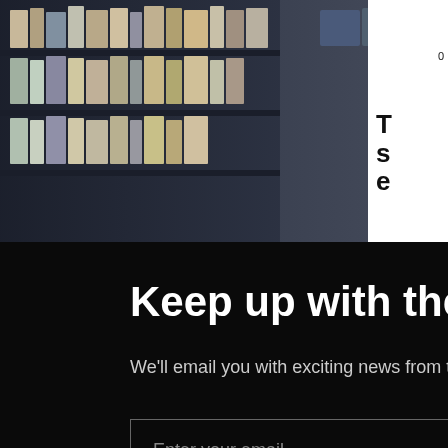[Figure (photo): A woman with short gray hair and glasses stands between tall shelving units filled with archive boxes and files, wearing a black denim jacket. Close button (X) in black circle visible top right corner.]
Keep up with the Fresh Air Archive
We'll email you with exciting news from time to time.
Enter your email